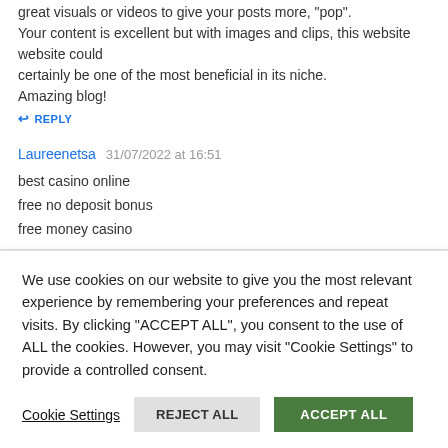great visuals or videos to give your posts more, "pop".
Your content is excellent but with images and clips, this website could
certainly be one of the most beneficial in its niche.
Amazing blog!
↩ REPLY
Laureenetsa   31/07/2022 at 16:51
best casino online
free no deposit bonus
free money casino
We use cookies on our website to give you the most relevant experience by remembering your preferences and repeat visits. By clicking "ACCEPT ALL", you consent to the use of ALL the cookies. However, you may visit "Cookie Settings" to provide a controlled consent.
Cookie Settings   REJECT ALL   ACCEPT ALL